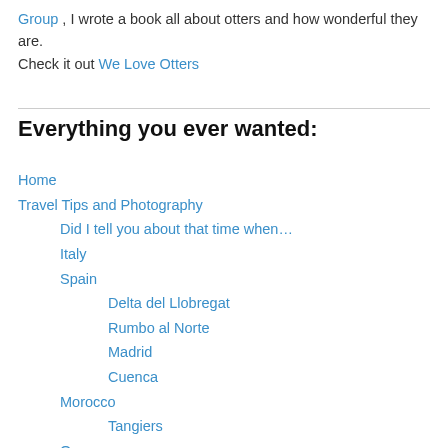Group , I wrote a book all about otters and how wonderful they are. Check it out We Love Otters
Everything you ever wanted:
Home
Travel Tips and Photography
Did I tell you about that time when…
Italy
Spain
Delta del Llobregat
Rumbo al Norte
Madrid
Cuenca
Morocco
Tangiers
Oman
Cuba